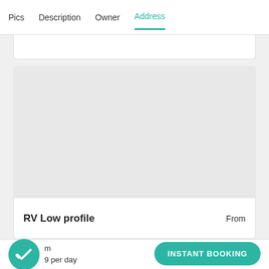Pics  Description  Owner  Address
[Figure (map): Gray placeholder map area for RV rental address location]
RV Low profile
From
m
9 per day
INSTANT BOOKING